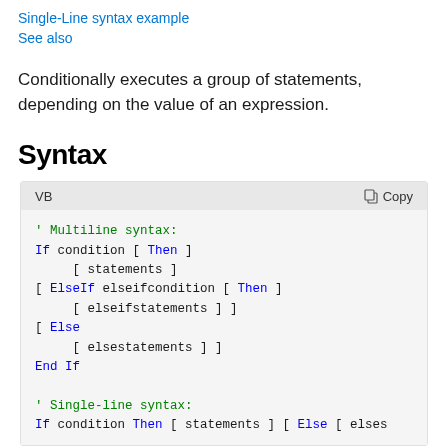Single-Line syntax example
See also
Conditionally executes a group of statements, depending on the value of an expression.
Syntax
[Figure (screenshot): VB code block showing If...Then...Else multiline and single-line syntax with a toolbar showing 'VB' language label and 'Copy' button]